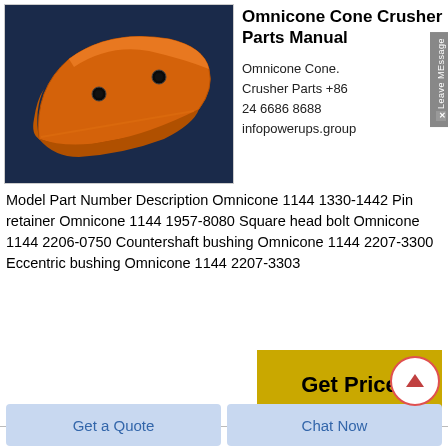[Figure (photo): Photo of an orange curved cone crusher wear part (mantle or concave segment) with two small holes, displayed against a dark blue background.]
Omnicone Cone Crusher Parts Manual
Omnicone Cone. Crusher Parts +86 24 6686 8688 infopowerups.group
Model Part Number Description Omnicone 1144 1330-1442 Pin retainer Omnicone 1144 1957-8080 Square head bolt Omnicone 1144 2206-0750 Countershaft bushing Omnicone 1144 2207-3300 Eccentric bushing Omni 1144 2207-3303
Get Price
Get a Quote
Chat Now